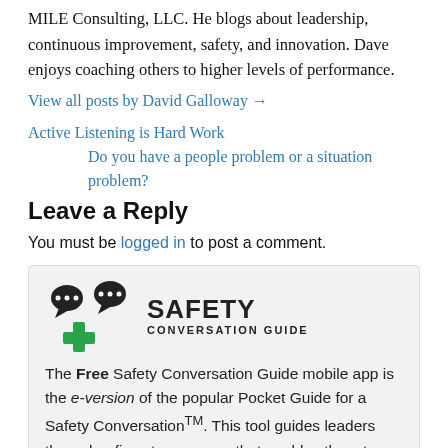MILE Consulting, LLC. He blogs about leadership, continuous improvement, safety, and innovation. Dave enjoys coaching others to higher levels of performance.
View all posts by David Galloway →
Active Listening is Hard Work
Do you have a people problem or a situation problem?
Leave a Reply
You must be logged in to post a comment.
[Figure (logo): Safety Conversation Guide logo with two speech bubble icons over a green plus sign and bold text reading SAFETY CONVERSATION GUIDE]
The Free Safety Conversation Guide mobile app is the e-version of the popular Pocket Guide for a Safety Conversation™. This tool guides leaders through a five step process that enables them to